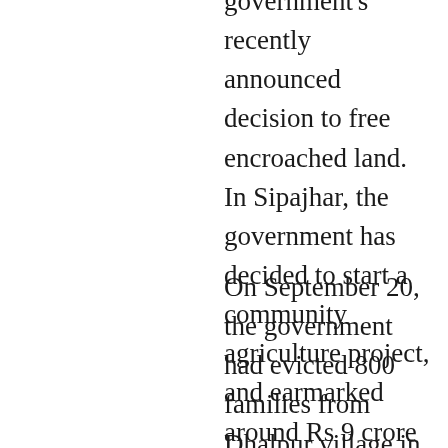government's recently announced decision to free encroached land. In Sipajhar, the government has decided to start a community agriculture project, and earmarked around Rs 9 crore for the purpose.
On September 20, the government had evicted 800 families from Dhalpur village in the same circle. There was no trouble there as not only had the evictees been assured of alternative land, but also shown the